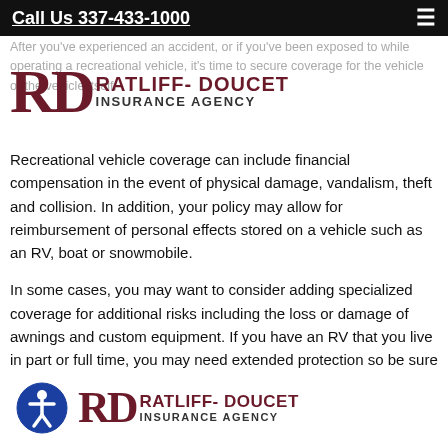Call Us 337-433-1000
[Figure (logo): Ratliff-Doucet Insurance Agency logo with stylized RD letters in dark red]
After you've experienced an accident, or if you've been exposed to while operating a recreational vehicle, it's time to secure coverage for the vehicle or the vehicle itself.
Recreational vehicle coverage can include financial compensation in the event of physical damage, vandalism, theft and collision. In addition, your policy may allow for reimbursement of personal effects stored on a vehicle such as an RV, boat or snowmobile.
In some cases, you may want to consider adding specialized coverage for additional risks including the loss or damage of awnings and custom equipment. If you have an RV that you live in part or full time, you may need extended protection so be sure to discuss that with your agent.
[Figure (logo): Ratliff-Doucet Insurance Agency bottom logo with accessibility icon and stylized RD letters]